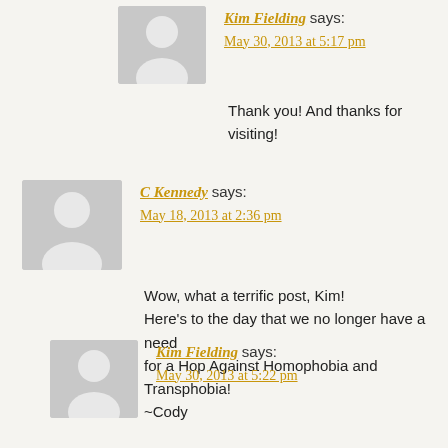Kim Fielding says:
May 30, 2013 at 5:17 pm
Thank you! And thanks for visiting!
C Kennedy says:
May 18, 2013 at 2:36 pm
Wow, what a terrific post, Kim! Here's to the day that we no longer have a need for a Hop Against Homophobia and Transphobia! ~Cody
Kim Fielding says:
May 30, 2013 at 5:22 pm
Thanks, Cody! I hope that day comes soon.